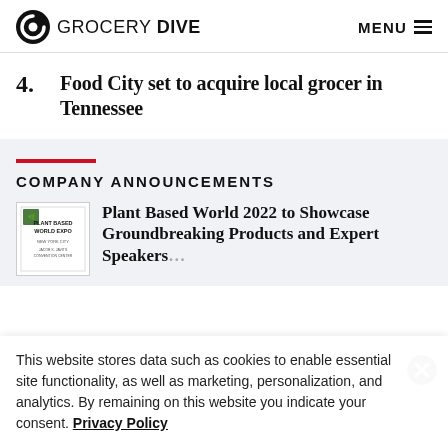GROCERY DIVE  MENU
4. Food City set to acquire local grocer in Tennessee
COMPANY ANNOUNCEMENTS
[Figure (logo): Plant Based World Expo logo]
Plant Based World 2022 to Showcase Groundbreaking Products and Expert Speakers
This website stores data such as cookies to enable essential site functionality, as well as marketing, personalization, and analytics. By remaining on this website you indicate your consent. Privacy Policy